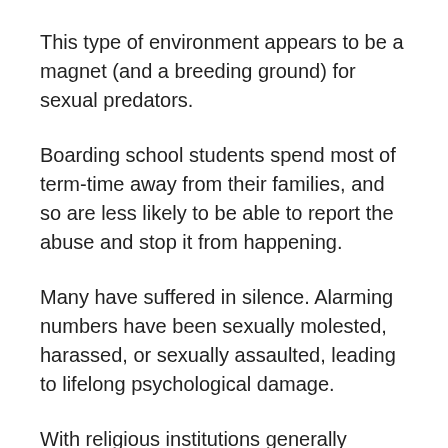This type of environment appears to be a magnet (and a breeding ground) for sexual predators.
Boarding school students spend most of term-time away from their families, and so are less likely to be able to report the abuse and stop it from happening.
Many have suffered in silence. Alarming numbers have been sexually molested, harassed, or sexually assaulted, leading to lifelong psychological damage.
With religious institutions generally expected to uphold high moral standards, parents are often trusting and let their guard down when sending their children to such schools. If abuse does